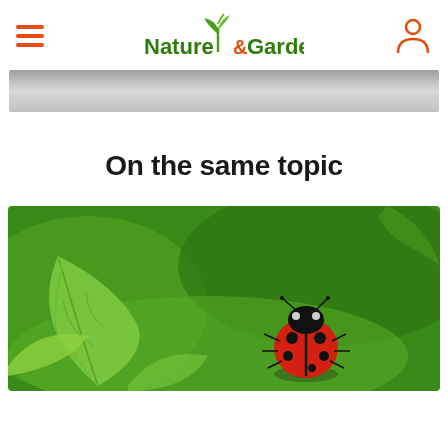Nature & Garden
[Figure (other): Gray banner/advertisement bar]
On the same topic
[Figure (photo): Close-up photo of a red ladybug with black spots sitting on a green leaf, with blurred green background]